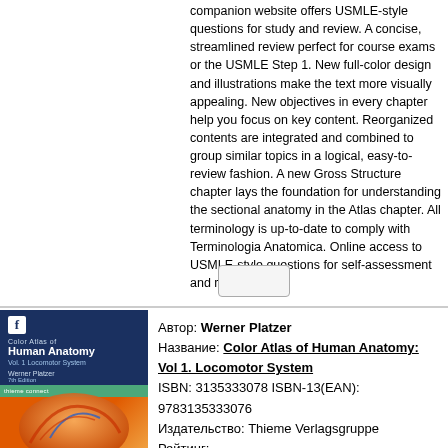companion website offers USMLE-style questions for study and review. A concise, streamlined review perfect for course exams or the USMLE Step 1. New full-color design and illustrations make the text more visually appealing. New objectives in every chapter help you focus on key content. Reorganized contents are integrated and combined to group similar topics in a logical, easy-to-review fashion. A new Gross Structure chapter lays the foundation for understanding the sectional anatomy in the Atlas chapter. All terminology is up-to-date to comply with Terminologia Anatomica. Online access to USMLE-style questions for self-assessment and review.
[Figure (other): Book cover: Color Atlas of Human Anatomy Vol. 1 Locomotor System by Werner Platzer, 7th edition]
Автор: Werner Platzer
Название: Color Atlas of Human Anatomy: Vol 1. Locomotor System
ISBN: 3135333078 ISBN-13(EAN): 9783135333076
Издательство: Thieme Verlagsgruppe
Рейтинг:
Цена: 4619 р. 5774.00 -20%
Наличие на складе: Есть (2 шт.)